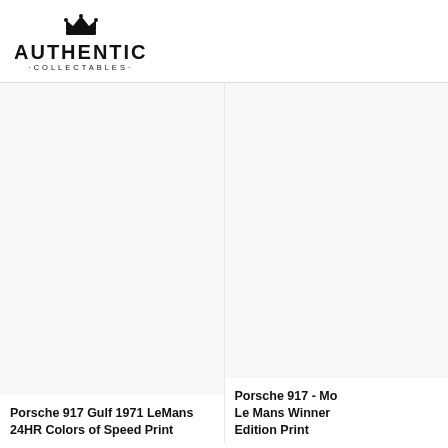[Figure (logo): Authentic Collectables logo with crown icon, bold AUTHENTIC text, and .COLLECTABLES. subtitle]
[Figure (illustration): Navigation icons: search (magnifying glass), hamburger menu, and shopping bag/cart]
[Figure (photo): Product image placeholder for Porsche 917 Gulf 1971 LeMans 24HR Colors of Speed Print (white/blank area)]
Porsche 917 Gulf 1971 LeMans 24HR Colors of Speed Print
[Figure (photo): Product image placeholder for Porsche 917 - Le Mans Winner Edition Print (white/blank area, partially cropped)]
Porsche 917 - Mo Le Mans Winner Edition Print